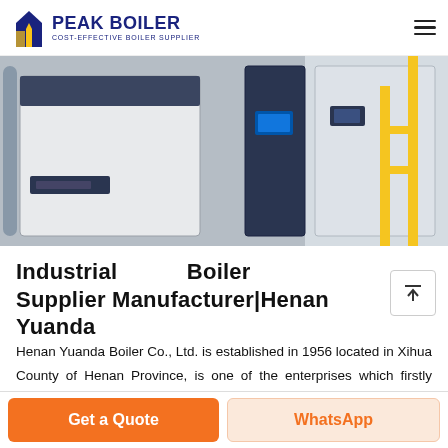PEAK BOILER COST-EFFECTIVE BOILER SUPPLIER
[Figure (photo): Industrial boilers in a facility: two large dark navy blue boiler units on the left, and a white boiler unit with yellow safety railings on the right]
Industrial Boiler Supplier Manufacturer|Henan Yuanda
Henan Yuanda Boiler Co., Ltd. is established in 1956 located in Xihua County of Henan Province, is one of the enterprises which firstly obtained boiler manufacturing license in China. We have...
Get a Quote | WhatsApp